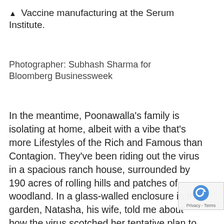▲ Vaccine manufacturing at the Serum Institute.
Photographer: Subhash Sharma for Bloomberg Businessweek
In the meantime, Poonawalla's family is isolating at home, albeit with a vibe that's more Lifestyles of the Rich and Famous than Contagion. They've been riding out the virus in a spacious ranch house, surrounded by 190 acres of rolling hills and patches of woodland. In a glass-walled enclosure in the garden, Natasha, his wife, told me about how the virus scotched her tentative plan to send one of her two sons to a British boarding school, forcing her to take over his education personally. Meanwhile, a platoon of waiters in white shirts and black waistcoats laid out a tasting menu of elegant cuisine that ...